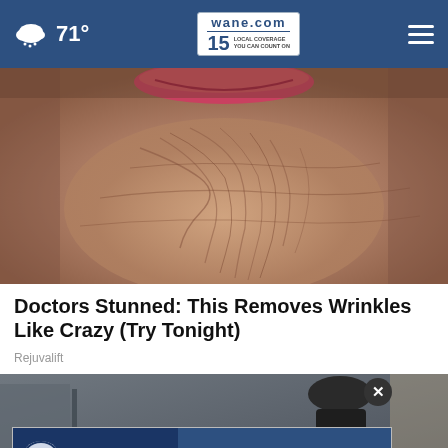71° | wane.com | 15 LOCAL COVERAGE YOU CAN COUNT ON
[Figure (photo): Close-up of extremely wrinkled elderly skin on chin/neck area with red lips visible at top]
Doctors Stunned: This Removes Wrinkles Like Crazy (Try Tonight)
Rejuvalift
[Figure (photo): Person in dark clothing near a building, with a University of Saint Francis advertisement overlay at the bottom reading: EARN A FULL OR HALF-TUITION SCHOLARSHIP FOR 4 YEARS!]